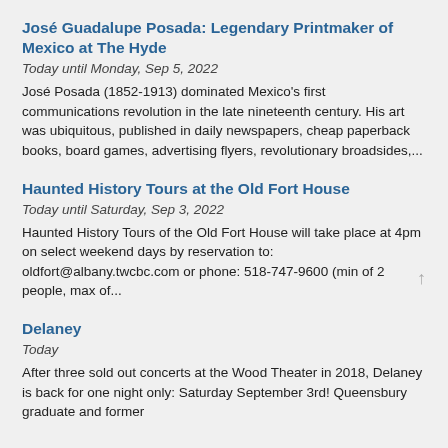José Guadalupe Posada: Legendary Printmaker of Mexico at The Hyde
Today until Monday, Sep 5, 2022
José Posada (1852-1913) dominated Mexico's first communications revolution in the late nineteenth century. His art was ubiquitous, published in daily newspapers, cheap paperback books, board games, advertising flyers, revolutionary broadsides,...
Haunted History Tours at the Old Fort House
Today until Saturday, Sep 3, 2022
Haunted History Tours of the Old Fort House will take place at 4pm on select weekend days by reservation to: oldfort@albany.twcbc.com or phone: 518-747-9600 (min of 2 people, max of...
Delaney
Today
After three sold out concerts at the Wood Theater in 2018, Delaney is back for one night only: Saturday September 3rd! Queensbury graduate and former